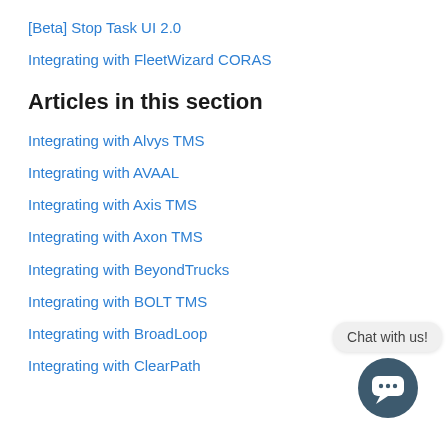[Beta] Stop Task UI 2.0
Integrating with FleetWizard CORAS
Articles in this section
Integrating with Alvys TMS
Integrating with AVAAL
Integrating with Axis TMS
Integrating with Axon TMS
Integrating with BeyondTrucks
Integrating with BOLT TMS
Integrating with BroadLoop
Integrating with ClearPath